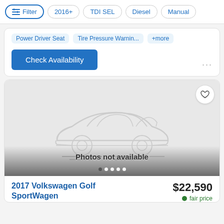Filter | 2016+ | TDI SEL | Diesel | Manual
Power Driver Seat  Tire Pressure Warnin...  +more
Check Availability
[Figure (illustration): Placeholder car silhouette image with 'Photos not available' overlay and pagination dots]
2017 Volkswagen Golf SportWagen
$22,590
fair price